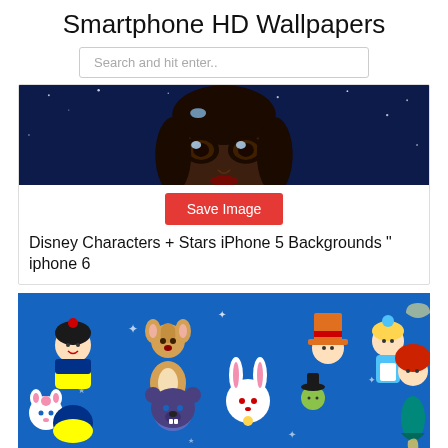Smartphone HD Wallpapers
Search and hit enter..
[Figure (illustration): Cropped illustration of a Disney princess character (Tiana) with large expressive eyes against a dark blue starry night sky background]
Save Image
Disney Characters + Stars iPhone 5 Backgrounds " iphone 6
[Figure (illustration): Illustrated collage of cute chibi-style Disney characters including Snow White, Bambi, Alice in Wonderland, Ariel, Beast, White Rabbit, Pinocchio, Marie the cat, and others on a bright blue background with stars and sparkles]